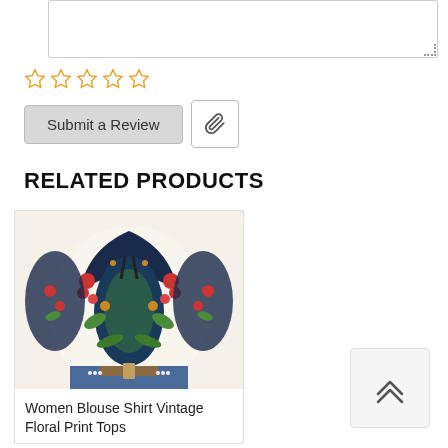[Figure (screenshot): Textarea input box for review text, empty, with resize handle in bottom-right corner]
[Figure (other): Five empty star rating icons in orange/gold outline]
Submit a Review
[Figure (other): Paperclip attachment button icon]
RELATED PRODUCTS
[Figure (photo): Women's blouse shirt with vintage floral print pattern in boho style, white background with colorful floral and paisley designs]
Women Blouse Shirt Vintage Floral Print Tops
[Figure (other): Back to top button with double chevron up arrow]